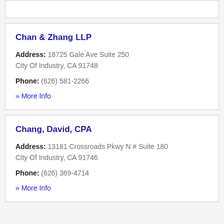Chan & Zhang LLP
Address: 18725 Gale Ave Suite 250 City Of Industry, CA 91748
Phone: (626) 581-2266
» More Info
Chang, David, CPA
Address: 13181 Crossroads Pkwy N # Suite 180 City Of Industry, CA 91746
Phone: (626) 369-4714
» More Info